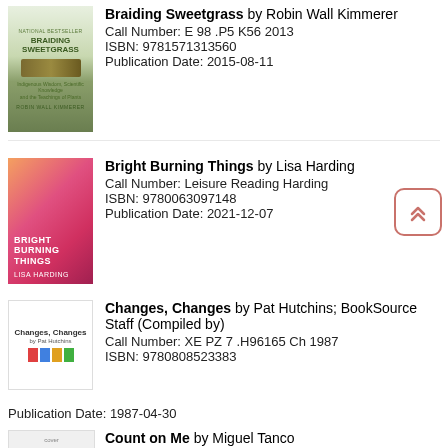[Figure (illustration): Book cover of Braiding Sweetgrass by Robin Wall Kimmerer - green toned cover with braided grass]
Braiding Sweetgrass by Robin Wall Kimmerer
Call Number: E 98 .P5 K56 2013
ISBN: 9781571313560
Publication Date: 2015-08-11
[Figure (illustration): Book cover of Bright Burning Things by Lisa Harding - orange/pink/red abstract cover]
Bright Burning Things by Lisa Harding
Call Number: Leisure Reading Harding
ISBN: 9780063097148
Publication Date: 2021-12-07
[Figure (illustration): Book cover of Changes, Changes by Pat Hutchins - colorful illustrated cover]
Changes, Changes by Pat Hutchins; BookSource Staff (Compiled by)
Call Number: XE PZ 7 .H96165 Ch 1987
ISBN: 9780808523383
Publication Date: 1987-04-30
[Figure (illustration): Book cover of Count on Me by Miguel Tanco - partial view]
Count on Me by Miguel Tanco